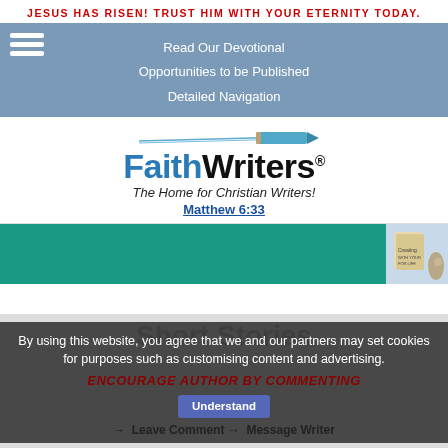JESUS HAS RISEN! TRUST HIM WITH YOUR ETERNITY TODAY.
Read Our Devotional
Opportunities to be Published
Detailed Navigation
[Figure (logo): FaithWriters logo with pencil graphic and tagline 'The Home for Christian Writers!' and Matthew 6:33 link]
[Figure (photo): Teal advertisement banner with book/figure image on right side]
By using this website, you agree that we and our partners may set cookies for purposes such as customising content and advertising.
Short Stories
ENCOURAGE AUTHOR BY COMMENTING
→ Leave Comment → Message Writer